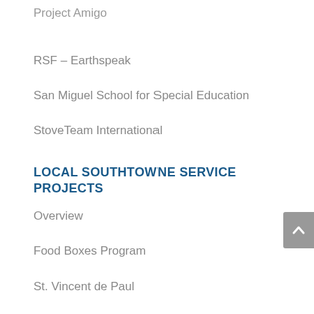Project Amigo
RSF – Earthspeak
San Miguel School for Special Education
StoveTeam International
LOCAL SOUTHTOWNE SERVICE PROJECTS
Overview
Food Boxes Program
St. Vincent de Paul
MEMBER ANNOUNCEMENTS AND NEWS
Board Meeting Highlights